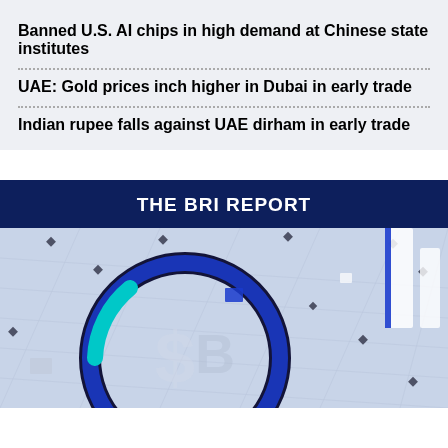Banned U.S. AI chips in high demand at Chinese state institutes
UAE: Gold prices inch higher in Dubai in early trade
Indian rupee falls against UAE dirham in early trade
THE BRI REPORT
[Figure (illustration): 3D rendered illustration showing a globe-like blue circular ring with financial/tech symbols on a light blue grid background with diamond shapes scattered around]